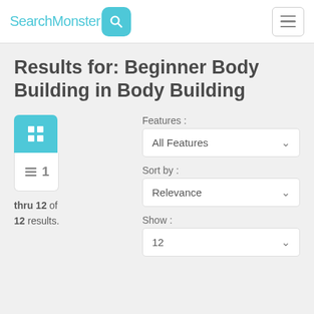SearchMonster [logo with search icon] [hamburger menu]
Results for: Beginner Body Building in Body Building
1 thru 12 of 12 results.
Features : All Features
Sort by : Relevance
Show : 12